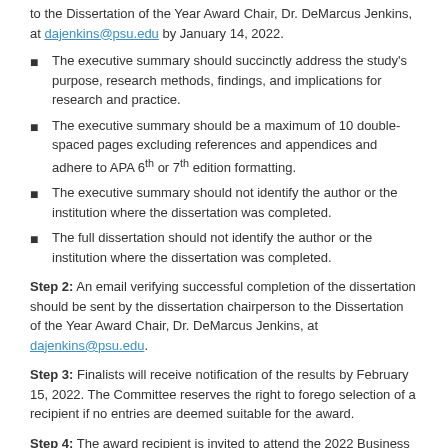to the Dissertation of the Year Award Chair, Dr. DeMarcus Jenkins, at dajenkins@psu.edu by January 14, 2022.
The executive summary should succinctly address the study's purpose, research methods, findings, and implications for research and practice.
The executive summary should be a maximum of 10 double-spaced pages excluding references and appendices and adhere to APA 6th or 7th edition formatting.
The executive summary should not identify the author or the institution where the dissertation was completed.
The full dissertation should not identify the author or the institution where the dissertation was completed.
Step 2: An email verifying successful completion of the dissertation should be sent by the dissertation chairperson to the Dissertation of the Year Award Chair, Dr. DeMarcus Jenkins, at dajenkins@psu.edu.
Step 3: Finalists will receive notification of the results by February 15, 2022. The Committee reserves the right to forego selection of a recipient if no entries are deemed suitable for the award.
Step 4: The award recipient is invited to attend the 2022 Business Meeting of the Leadership for School Improvement SIG, where